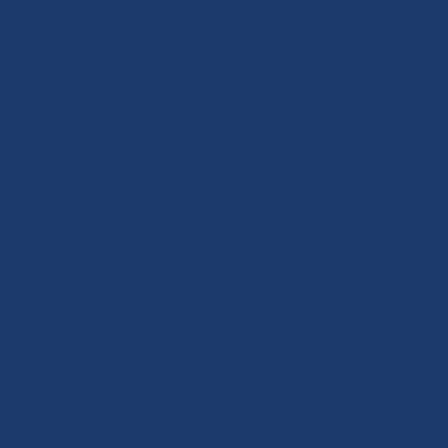e ate p olicy — a n d p oli tic ia ns ar e the n pr es e nt e d wi th it, a